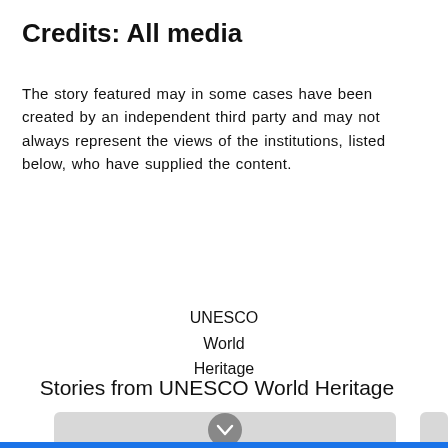Credits: All media
The story featured may in some cases have been created by an independent third party and may not always represent the views of the institutions, listed below, who have supplied the content.
UNESCO
World
Heritage
Stories from UNESCO World Heritage
[Figure (other): A gray card area with a chevron/down arrow button in a circle, partially visible at the bottom of the page]